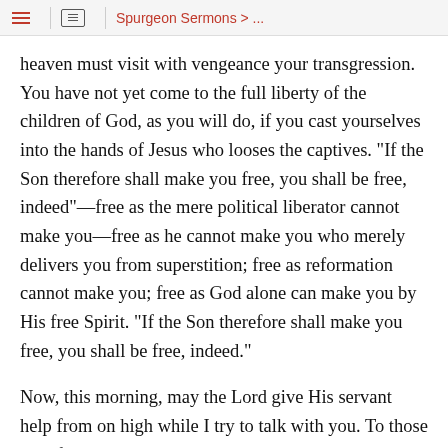Spurgeon Sermons > ...
heaven must visit with vengeance your transgression. You have not yet come to the full liberty of the children of God, as you will do, if you cast yourselves into the hands of Jesus who looses the captives. "If the Son therefore shall make you free, you shall be free, indeed"—free as the mere political liberator cannot make you—free as he cannot make you who merely delivers you from superstition; free as reformation cannot make you; free as God alone can make you by His free Spirit. "If the Son therefore shall make you free, you shall be free, indeed."
Now, this morning, may the Lord give His servant help from on high while I try to talk with you. To those who feel today their slavery, my message may be profitable. Our first point is that, to those who are the bond